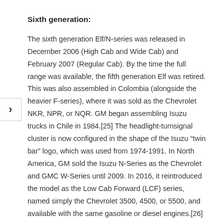Sixth generation:
The sixth generation Elf/N-series was released in December 2006 (High Cab and Wide Cab) and February 2007 (Regular Cab). By the time the full range was available, the fifth generation Elf was retired. This was also assembled in Colombia (alongside the heavier F-series), where it was sold as the Chevrolet NKR, NPR, or NQR. GM began assembling Isuzu trucks in Chile in 1984.[25] The headlight-turnsignal cluster is now configured in the shape of the Isuzu “twin bar” logo, which was used from 1974-1991. In North America, GM sold the Isuzu N-Series as the Chevrolet and GMC W-Series until 2009. In 2016, it reintroduced the model as the Low Cab Forward (LCF) series, named simply the Chevrolet 3500, 4500, or 5500, and available with the same gasoline or diesel engines.[26]
The design of the 6th-generation Isuzu Elf cabin bears some resemblance to an all-fiberglass cabin fitted to trucks made by the Brazilian company Agrale since 2003. Agrale introduced an all-steel